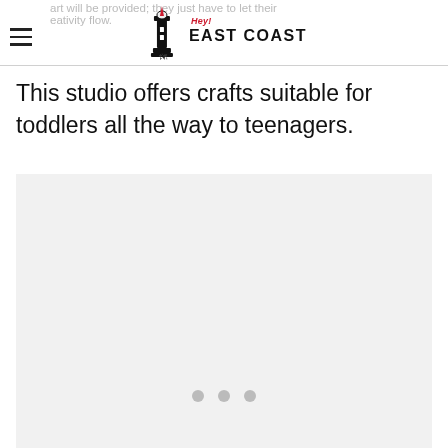art will be provided; they just have to let their creativity flow. — Hey! East Coast
This studio offers crafts suitable for toddlers all the way to teenagers.
[Figure (photo): Light grey image placeholder with three grey dots near the bottom center, indicating a loading or empty image carousel slot.]